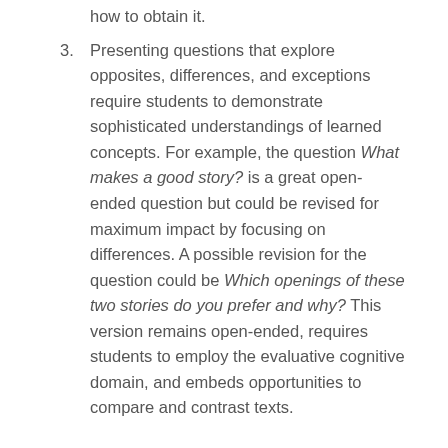how to obtain it.
3. Presenting questions that explore opposites, differences, and exceptions require students to demonstrate sophisticated understandings of learned concepts. For example, the question What makes a good story? is a great open-ended question but could be revised for maximum impact by focusing on differences. A possible revision for the question could be Which openings of these two stories do you prefer and why? This version remains open-ended, requires students to employ the evaluative cognitive domain, and embeds opportunities to compare and contrast texts.